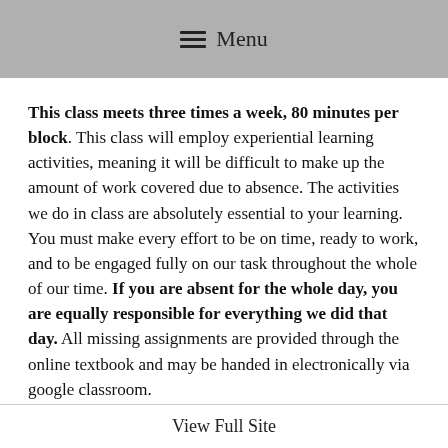Menu
This class meets three times a week, 80 minutes per block. This class will employ experiential learning activities, meaning it will be difficult to make up the amount of work covered due to absence. The activities we do in class are absolutely essential to your learning. You must make every effort to be on time, ready to work, and to be engaged fully on our task throughout the whole of our time. If you are absent for the whole day, you are equally responsible for everything we did that day. All missing assignments are provided through the online textbook and may be handed in electronically via google classroom.
View Full Site